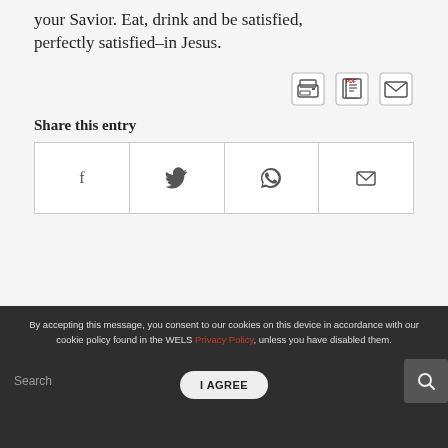your Savior. Eat, drink and be satisfied, perfectly satisfied–in Jesus.
[Figure (infographic): Row of three icons: print icon, PDF icon, email/envelope icon]
Share this entry
[Figure (infographic): Row of four social share buttons: Facebook (f), Twitter (bird), WhatsApp, Email (envelope)]
By accepting this message, you consent to our cookies on this device in accordance with our cookie policy found in the WELS Privacy Policy, unless you have disabled them.
Search